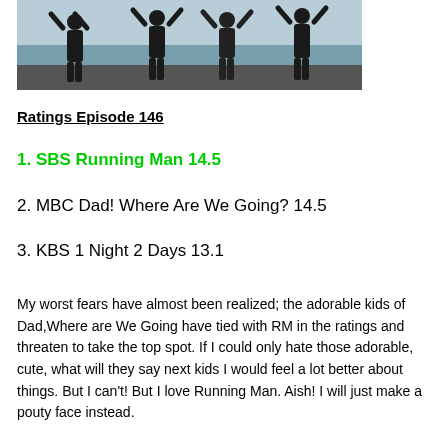[Figure (photo): Group of people in black jackets at a beach/waterfront with arms raised, multiple figures visible]
Ratings Episode 146
1. SBS Running Man 14.5
2. MBC Dad! Where Are We Going? 14.5
3. KBS 1 Night 2 Days 13.1
My worst fears have almost been realized; the adorable kids of Dad,Where are We Going have tied with RM in the ratings and threaten to take the top spot. If I could only hate those adorable, cute, what will they say next kids I would feel a lot better about things. But I can't! But I love Running Man. Aish! I will just make a pouty face instead.